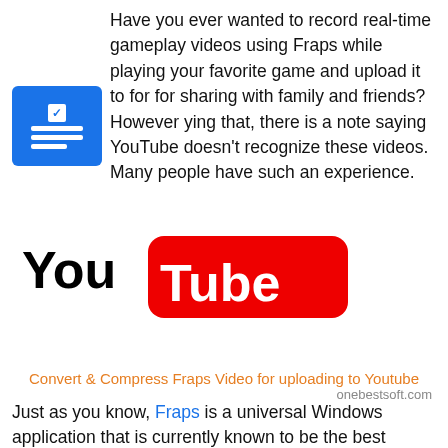Have you ever wanted to record real-time gameplay videos using Fraps while playing your favorite game and upload it to [YouTube icon] for for sharing with family and friends? However [icon] ying that, there is a note saying YouTube doesn't recognize these videos. Many people have such an experience. Quite puzzled, isn't it?
[Figure (illustration): YouTube logo on red rounded rectangle, globe with green upload arrow, vertical divider line, Tweet link, share button showing count 0, and a partial monitor/computer illustration on the right side.]
Convert & Compress Fraps Video for uploading to Youtube
onebestsoft.com
Just as you know, Fraps is a universal Windows application that is currently known to be the best software to capture real-time gameplay videos. Fraps video is always in AVI format. And YouTube just only recognizes the specific way